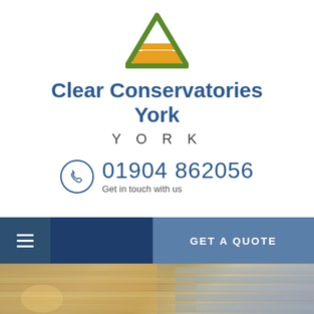[Figure (logo): Triangular logo with green outline and orange/gold horizontal stripes inside]
Clear Conservatories York
YORK
01904 862056
Get in touch with us
[Figure (screenshot): Navigation bar with hamburger menu on left and GET A QUOTE button on right, followed by a photo of conservatory panels/roof materials]